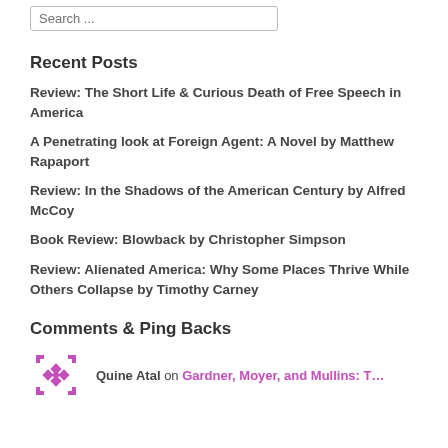Search ...
Recent Posts
Review: The Short Life & Curious Death of Free Speech in America
A Penetrating look at Foreign Agent: A Novel by Matthew Rapaport
Review: In the Shadows of the American Century by Alfred McCoy
Book Review: Blowback by Christopher Simpson
Review: Alienated America: Why Some Places Thrive While Others Collapse by Timothy Carney
Comments & Ping Backs
Quine Atal on Gardner, Moyer, and Mullins: T...